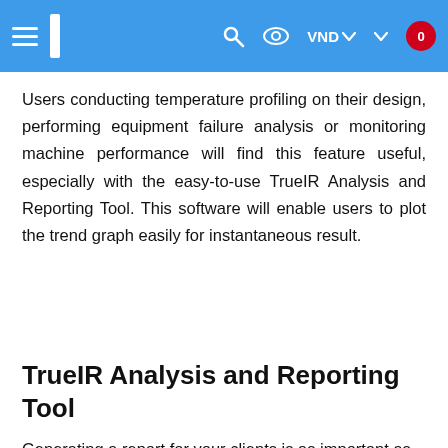Navigation bar with hamburger menu, logo, search, eye icon, VND currency selector, chevron, and cart badge showing 0
Users conducting temperature profiling on their design, performing equipment failure analysis or monitoring machine performance will find this feature useful, especially with the easy-to-use TrueIR Analysis and Reporting Tool. This software will enable users to plot the trend graph easily for instantaneous result.
TrueIR Analysis and Reporting Tool
Generating a report for your clients is as important as